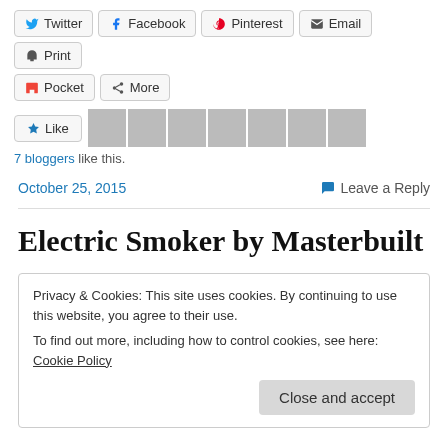Twitter Facebook Pinterest Email Print Pocket More
[Figure (other): Like button with 7 blogger avatars]
7 bloggers like this.
October 25, 2015    Leave a Reply
Electric Smoker by Masterbuilt
Privacy & Cookies: This site uses cookies. By continuing to use this website, you agree to their use. To find out more, including how to control cookies, see here: Cookie Policy
Close and accept